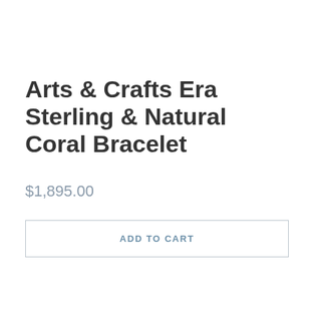Arts & Crafts Era Sterling & Natural Coral Bracelet
$1,895.00
ADD TO CART